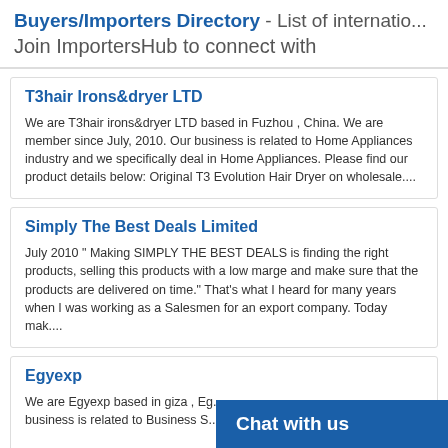Buyers/Importers Directory - List of international buyers. Join ImportersHub to connect with
T3hair Irons&dryer LTD
We are T3hair irons&amp;dryer LTD based in Fuzhou , China. We are member since July, 2010. Our business is related to Home Appliances industry and we specifically deal in Home Appliances. Please find our product details below: Original T3 Evolution Hair Dryer on wholesale....
Simply The Best Deals Limited
July 2010 " Making SIMPLY THE BEST DEALS is finding the right products, selling this products with a low marge and make sure that the products are delivered on time." That's what I heard for many years when I was working as a Salesmen for an export company. Today mak....
Egyexp
We are Egyexp based in giza , Eg... business is related to Business S...
Chat with us